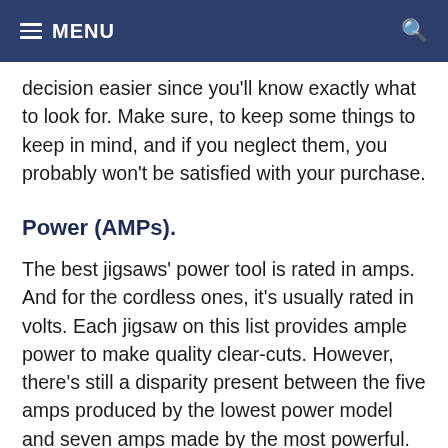MENU
decision easier since you'll know exactly what to look for. Make sure, to keep some things to keep in mind, and if you neglect them, you probably won't be satisfied with your purchase.
Power (AMPs).
The best jigsaws' power tool is rated in amps. And for the cordless ones, it's usually rated in volts. Each jigsaw on this list provides ample power to make quality clear-cuts. However, there's still a disparity present between the five amps produced by the lowest power model and seven amps made by the most powerful. However, this is going to have a significant effect on efficiency, also, on how thick of materials you'll be able to